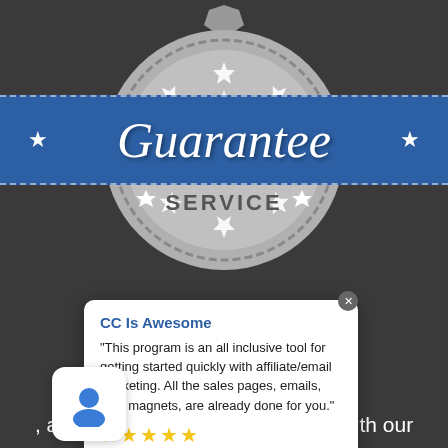[Figure (illustration): Gray metallic guarantee badge/seal with stars and gear-like border, '100%' text at top, 'SERVICE' text at bottom, overlaid with blue 'Guarantee' banner with dashed borders and stars on each side]
We provide our software and support ... it risk free for a ...
[Figure (illustration): White popup review card with blue title 'CC Is Awesome', review text, and 5 yellow star rating, plus avatar box in bottom left with blue person icon]
...ry step of the way, and you can learn and connect with our Facebook group and join our live training